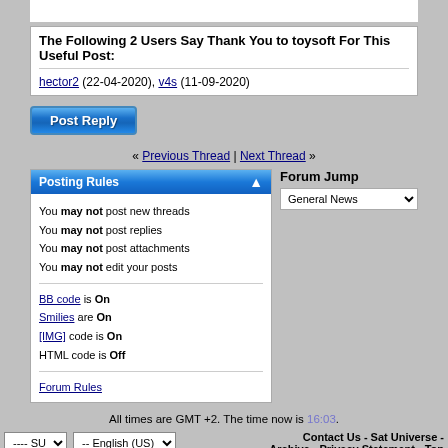The Following 2 Users Say Thank You to toysoft For This Useful Post:
hector2 (22-04-2020), v4s (11-09-2020)
Post Reply
« Previous Thread | Next Thread »
Posting Rules
You may not post new threads
You may not post replies
You may not post attachments
You may not edit your posts
BB code is On
Smilies are On
[IMG] code is On
HTML code is Off
Forum Rules
Forum Jump
General News
All times are GMT +2. The time now is 16:03.
Contact Us - Sat Universe - Archive - Privacy Statement - Top
Powered by vBulletin
Copyright ©2006-2019 - Sat Universe